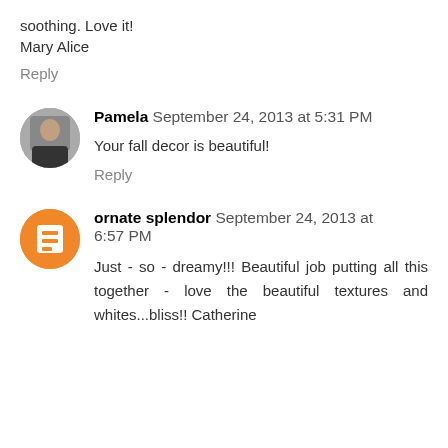soothing. Love it!
Mary Alice
Reply
Pamela September 24, 2013 at 5:31 PM
Your fall decor is beautiful!
Reply
ornate splendor September 24, 2013 at 6:57 PM
Just - so - dreamy!!! Beautiful job putting all this together - love the beautiful textures and whites...bliss!! Catherine